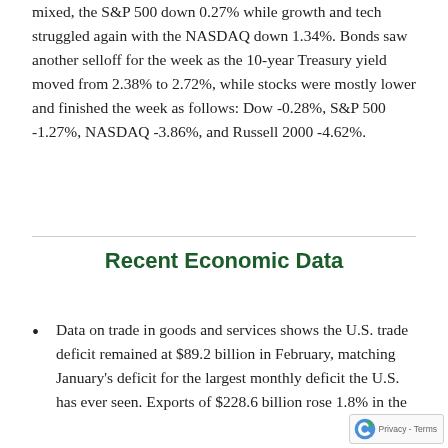mixed, the S&P 500 down 0.27% while growth and tech struggled again with the NASDAQ down 1.34%. Bonds saw another selloff for the week as the 10-year Treasury yield moved from 2.38% to 2.72%, while stocks were mostly lower and finished the week as follows: Dow -0.28%, S&P 500 -1.27%, NASDAQ -3.86%, and Russell 2000 -4.62%.
Recent Economic Data
Data on trade in goods and services shows the U.S. trade deficit remained at $89.2 billion in February, matching January's deficit for the largest monthly deficit the U.S. has ever seen. Exports of $228.6 billion rose 1.8% in the